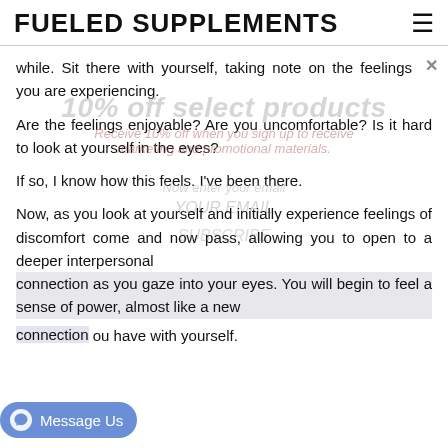FUELED SUPPLEMENTS
while. Sit there with yourself, taking note on the feelings you are experiencing.
Are the feelings enjoyable? Are you uncomfortable? Is it hard to look at yourself in the eyes?
If so, I know how this feels. I've been there.
Now, as you look at yourself and initially experience feelings of discomfort come and now pass, allowing you to open to a deeper interpersonal connection as you gaze into your eyes. You will begin to feel a sense of power, almost like a new [relationship you have with yourself.]